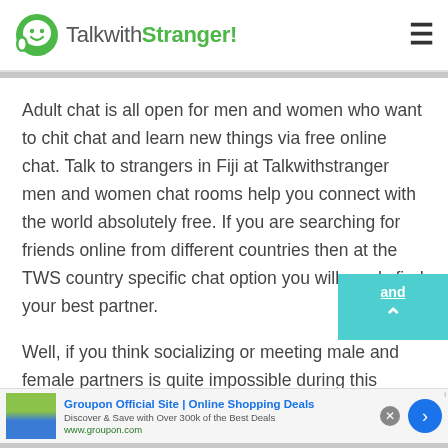TalkwithStranger!
Adult chat is all open for men and women who want to chit chat and learn new things via free online chat. Talk to strangers in Fiji at Talkwithstranger men and women chat rooms help you connect with the world absolutely free. If you are searching for friends online from different countries then at the TWS country specific chat option you will surely find your best partner.
Well, if you think socializing or meeting male and female partners is quite impossible during this
[Figure (screenshot): Groupon advertisement banner with logo, title 'Groupon Official Site | Online Shopping Deals', subtitle 'Discover & Save with Over 300k of the Best Deals', URL www.groupon.com, close button, and navigation arrow]